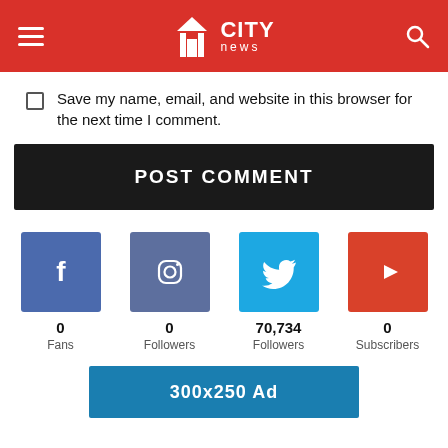CITY news
Save my name, email, and website in this browser for the next time I comment.
POST COMMENT
[Figure (infographic): Four social media icons (Facebook, Instagram, Twitter, YouTube) with follower/fan/subscriber counts: Facebook 0 Fans, Instagram 0 Followers, Twitter 70,734 Followers, YouTube 0 Subscribers]
[Figure (infographic): 300x250 Ad placeholder banner in teal/blue color]